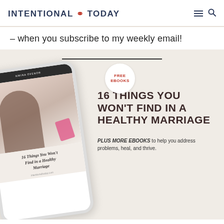INTENTIONAL TODAY
– when you subscribe to my weekly email!
[Figure (illustration): Promotional banner image with a phone mockup showing '16 Things You Won't Find in a Healthy Marriage' ebook cover, a FREE EBOOKS badge, and text on the right: '16 THINGS YOU WON'T FIND IN A HEALTHY MARRIAGE' plus 'PLUS MORE EBOOKS to help you address problems, heal, and thrive.']